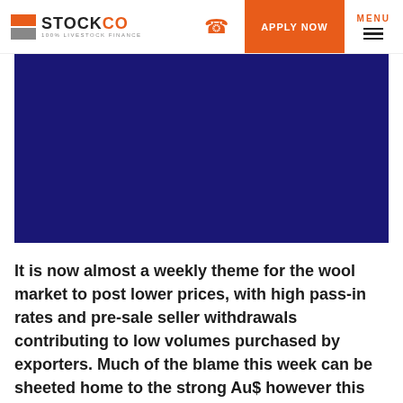STOCKCO 100% LIVESTOCK FINANCE — APPLY NOW — MENU
[Figure (photo): Dark navy/indigo blue rectangular image block, likely a hero image for a wool market article.]
It is now almost a weekly theme for the wool market to post lower prices, with high pass-in rates and pre-sale seller withdrawals contributing to low volumes purchased by exporters. Much of the blame this week can be sheeted home to the strong Au$ however this